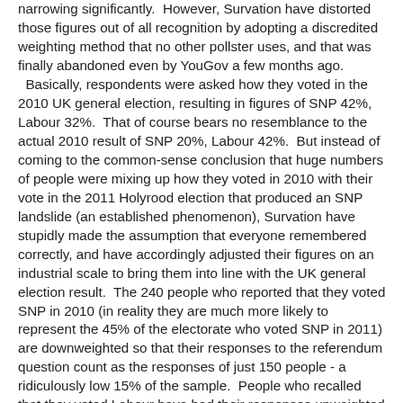narrowing significantly.  However, Survation have distorted those figures out of all recognition by adopting a discredited weighting method that no other pollster uses, and that was finally abandoned even by YouGov a few months ago.  Basically, respondents were asked how they voted in the 2010 UK general election, resulting in figures of SNP 42%, Labour 32%.  That of course bears no resemblance to the actual 2010 result of SNP 20%, Labour 42%.  But instead of coming to the common-sense conclusion that huge numbers of people were mixing up how they voted in 2010 with their vote in the 2011 Holyrood election that produced an SNP landslide (an established phenomenon), Survation have stupidly made the assumption that everyone remembered correctly, and have accordingly adjusted their figures on an industrial scale to bring them into line with the UK general election result.  The 240 people who reported that they voted SNP in 2010 (in reality they are much more likely to represent the 45% of the electorate who voted SNP in 2011) are downweighted so that their responses to the referendum question count as the responses of just 150 people - a ridiculously low 15% of the sample.  People who recalled that they voted Labour have had their responses unweighted